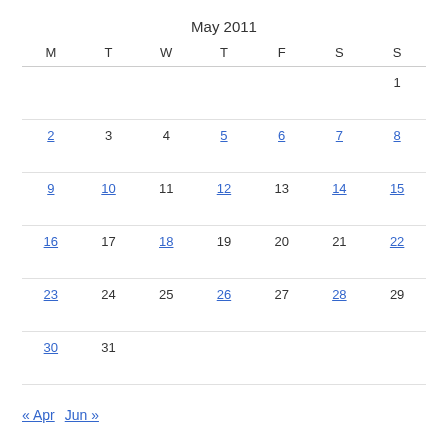May 2011
| M | T | W | T | F | S | S |
| --- | --- | --- | --- | --- | --- | --- |
|  |  |  |  |  |  | 1 |
| 2 | 3 | 4 | 5 | 6 | 7 | 8 |
| 9 | 10 | 11 | 12 | 13 | 14 | 15 |
| 16 | 17 | 18 | 19 | 20 | 21 | 22 |
| 23 | 24 | 25 | 26 | 27 | 28 | 29 |
| 30 | 31 |  |  |  |  |  |
« Apr   Jun »